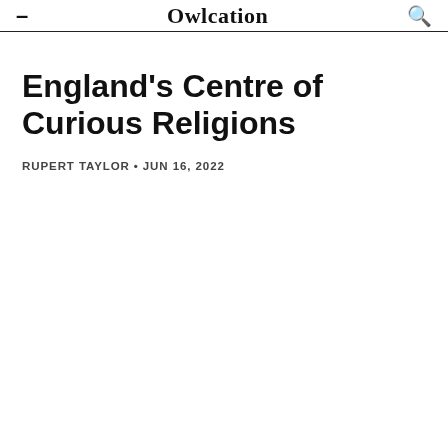Owlcation
England’s Centre of Curious Religions
RUPERT TAYLOR • JUN 16, 2022